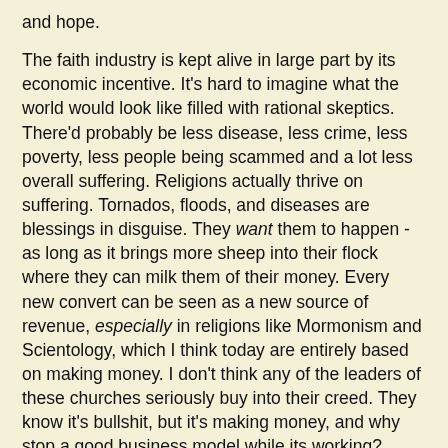and hope.
The faith industry is kept alive in large part by its economic incentive. It's hard to imagine what the world would look like filled with rational skeptics. There'd probably be less disease, less crime, less poverty, less people being scammed and a lot less overall suffering. Religions actually thrive on suffering. Tornados, floods, and diseases are blessings in disguise. They want them to happen - as long as it brings more sheep into their flock where they can milk them of their money. Every new convert can be seen as a new source of revenue, especially in religions like Mormonism and Scientology, which I think today are entirely based on making money. I don't think any of the leaders of these churches seriously buy into their creed. They know it's bullshit, but it's making money, and why stop a good business model while its working?
I for one can't wait to see this bullshit economy come crashing down. That's just one of the motivations for doing what I do here.